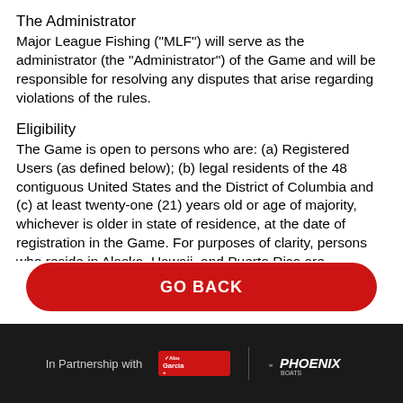The Administrator
Major League Fishing ("MLF") will serve as the administrator (the "Administrator") of the Game and will be responsible for resolving any disputes that arise regarding violations of the rules.
Eligibility
The Game is open to persons who are: (a) Registered Users (as defined below); (b) legal residents of the 48 contiguous United States and the District of Columbia and (c) at least twenty-one (21) years old or age of majority, whichever is older in state of residence, at the date of registration in the Game. For purposes of clarity, persons who reside in Alaska, Hawaii, and Puerto Rico are expressly excluded from this Game. Void where prohibited by law.
[Figure (other): Red rounded button with white bold text reading GO BACK]
In Partnership with Abu Garcia | PHOENIX Sports